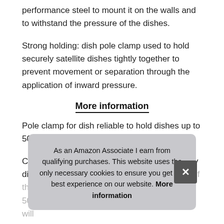performance steel to mount it on the walls and to withstand the pressure of the dishes.
Strong holding: dish pole clamp used to hold securely satellite dishes tightly together to prevent movement or separation through the application of inward pressure.
More information
Pole clamp for dish reliable to hold dishes up to 50cm sky dishes.
Compatibility: pole mounting adaptor kit for sky dish enables easy and secure pole mounting of the 43cm and new MK4 50c…
Satellite dish on a pole.
As an Amazon Associate I earn from qualifying purchases. This website uses the only necessary cookies to ensure you get the best experience on our website. More information